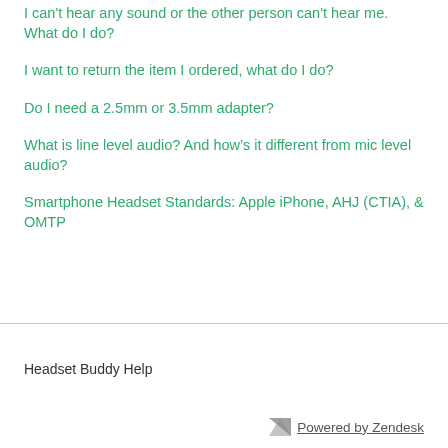I can't hear any sound or the other person can't hear me. What do I do?
I want to return the item I ordered, what do I do?
Do I need a 2.5mm or 3.5mm adapter?
What is line level audio? And how's it different from mic level audio?
Smartphone Headset Standards: Apple iPhone, AHJ (CTIA), & OMTP
Headset Buddy Help
Powered by Zendesk